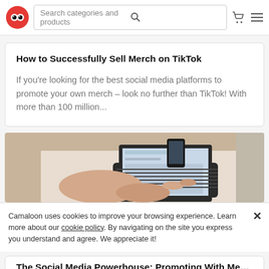Search categories and products
How to Successfully Sell Merch on TikTok
If you’re looking for the best social media platforms to promote your own merch – look no further than TikTok! With more than 100 million...
[Figure (photo): Person typing on a laptop keyboard, viewed from above, with a phone nearby on a wooden surface]
Camaloon uses cookies to improve your browsing experience. Learn more about our cookie policy. By navigating on the site you express you understand and agree. We appreciate it!
The Social Media Powerhouse: Promoting With Me...